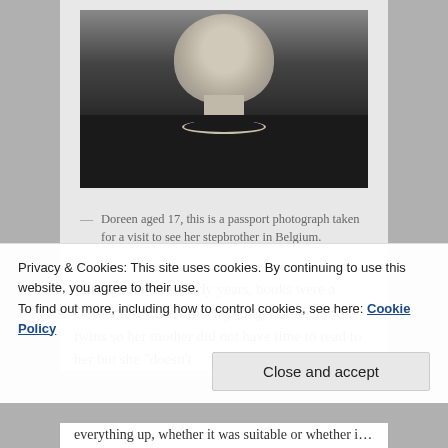[Figure (photo): Black and white passport photograph of Doreen aged 17, showing her face and upper torso, wearing a dark top with a pearl necklace.]
— Doreen aged 17, this is a passport photograph taken for a visit to see her stepbrother in Belgium.
Throughout these early years, books were a constant. Doreen's much younger brothers were twins so her mother did not have time to read to her but she "doesn't ever remember not reading". A great aunt lived near and
Privacy & Cookies: This site uses cookies. By continuing to use this website, you agree to their use.
To find out more, including how to control cookies, see here: Cookie Policy
everything up, whether it was suitable or whether it wasn't.